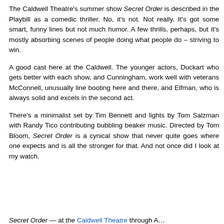The Caldwell Theatre's summer show Secret Order is described in the Playbill as a comedic thriller. No, it's not. Not really. It's got some smart, funny lines but not much humor. A few thrills, perhaps, but it's mostly absorbing scenes of people doing what people do – striving to win.
A good cast here at the Caldwell. The younger actors, Duckart who gets better with each show, and Cunningham, work well with veterans McConnell, unusually line booting here and there, and Elfman, who is always solid and excels in the second act.
There's a minimalist set by Tim Bennett and lights by Tom Salzman with Randy Tico contributing bubbling beaker music. Directed by Tom Bloom, Secret Order is a cynical show that never quite goes where one expects and is all the stronger for that. And not once did I look at my watch.
Secret Order — at the Caldwell Theatre through A...